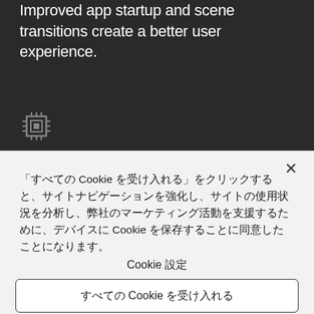Improved app startup and scene transitions create a better user experience.
[Figure (illustration): Chip/processor icon rendered in pixel art style on dark background]
「すべての Cookie を受け入れる」をクリックすると、サイトナビゲーションを強化し、サイトの使用状況を分析し、弊社のマーケティング活動を支援するために、デバイスに Cookie を保存することに同意したことになります。
Cookie 設定
すべての Cookie を受け入れる